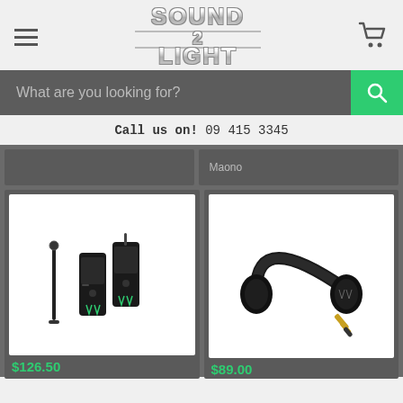[Figure (logo): Sound 2 Light logo with stylized chrome text]
[Figure (other): Search bar with placeholder text and green search button]
What are you looking for?
Call us on!  09 415 3345
Maono
[Figure (photo): Wireless lavalier microphone system with transmitter and receiver units]
[Figure (photo): Black over-ear headphones with gold audio jack adapter]
$126.50
$89.00